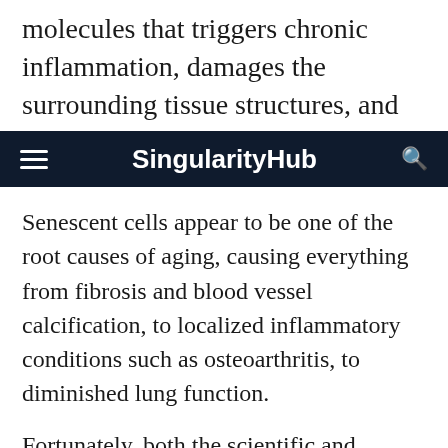molecules that triggers chronic inflammation, damages the surrounding tissue structures, and
SingularityHub
Senescent cells appear to be one of the root causes of aging, causing everything from fibrosis and blood vessel calcification, to localized inflammatory conditions such as osteoarthritis, to diminished lung function.
Fortunately, both the scientific and entrepreneurial communities have begun to work on senolytic therapies, moving the technology for selectively destroying senescent cells out of the laboratory and into a half-dozen startup companies.